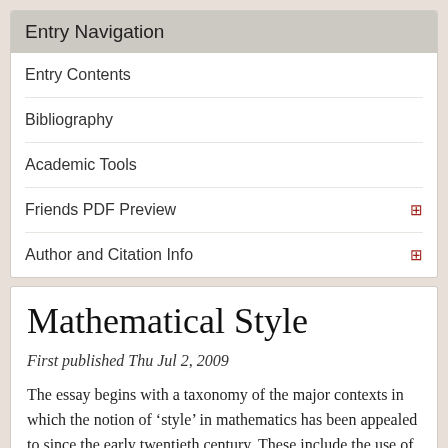Entry Navigation
Entry Contents
Bibliography
Academic Tools
Friends PDF Preview
Author and Citation Info
Mathematical Style
First published Thu Jul 2, 2009
The essay begins with a taxonomy of the major contexts in which the notion of ‘style’ in mathematics has been appealed to since the early twentieth century. These include the use of the notion of style in comparative cultural histories of mathematics, in characterizing